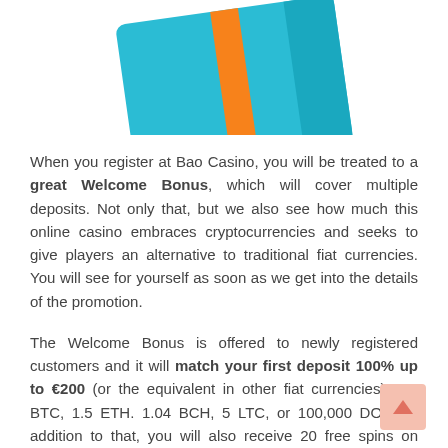[Figure (illustration): Partial view of a colorful card or book illustration with teal/blue and orange colors, cropped at top of page]
When you register at Bao Casino, you will be treated to a great Welcome Bonus, which will cover multiple deposits. Not only that, but we also see how much this online casino embraces cryptocurrencies and seeks to give players an alternative to traditional fiat currencies. You will see for yourself as soon as we get into the details of the promotion.
The Welcome Bonus is offered to newly registered customers and it will match your first deposit 100% up to €200 (or the equivalent in other fiat currencies), 0.5 BTC, 1.5 ETH. 1.04 BCH, 5 LTC, or 100,000 DOG. In addition to that, you will also receive 20 free spins on Quickspin's Northern Sky slot game.